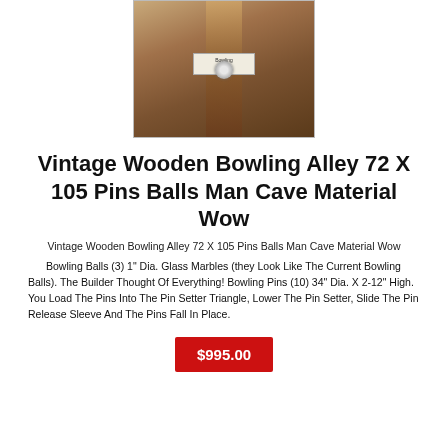[Figure (photo): Photo of a vintage wooden bowling alley lane section with copper/brown rails, bowling pins and marbles visible]
Vintage Wooden Bowling Alley 72 X 105 Pins Balls Man Cave Material Wow
Vintage Wooden Bowling Alley 72 X 105 Pins Balls Man Cave Material Wow
Bowling Balls (3) 1" Dia. Glass Marbles (they Look Like The Current Bowling Balls). The Builder Thought Of Everything! Bowling Pins (10) 34" Dia. X 2-12" High. You Load The Pins Into The Pin Setter Triangle, Lower The Pin Setter, Slide The Pin Release Sleeve And The Pins Fall In Place.
$995.00